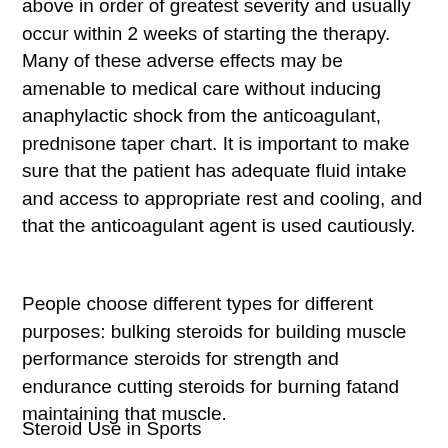above in order of greatest severity and usually occur within 2 weeks of starting the therapy. Many of these adverse effects may be amenable to medical care without inducing anaphylactic shock from the anticoagulant, prednisone taper chart. It is important to make sure that the patient has adequate fluid intake and access to appropriate rest and cooling, and that the anticoagulant agent is used cautiously.
People choose different types for different purposes: bulking steroids for building muscle performance steroids for strength and endurance cutting steroids for burning fatand maintaining that muscle.
Steroid Use in Sports